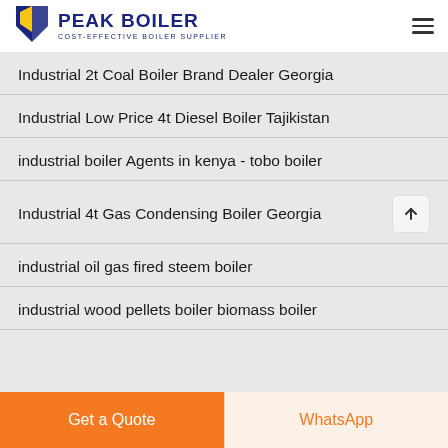PEAK BOILER — COST-EFFECTIVE BOILER SUPPLIER
Industrial 2t Coal Boiler Brand Dealer Georgia
Industrial Low Price 4t Diesel Boiler Tajikistan
industrial boiler Agents in kenya - tobo boiler
Industrial 4t Gas Condensing Boiler Georgia
industrial oil gas fired steem boiler
industrial wood pellets boiler biomass boiler
Get a Quote
WhatsApp